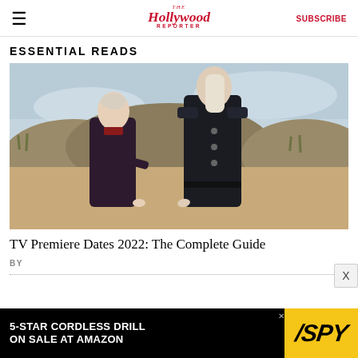The Hollywood Reporter — SUBSCRIBE
ESSENTIAL READS
[Figure (photo): Two actors standing on a sandy beach — a woman in a dark ornate coat with platinum braided hair, and a taller man in dark medieval armor with long white-blonde hair — from House of the Dragon TV show.]
TV Premiere Dates 2022: The Complete Guide
BY
[Figure (infographic): Advertisement banner: '5-STAR CORDLESS DRILL ON SALE AT AMAZON' with SPY logo on yellow background.]